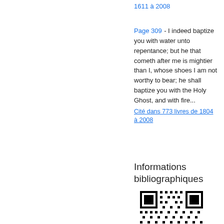1611 à 2008
Page 309 - I indeed baptize you with water unto repentance; but he that cometh after me is mightier than I, whose shoes I am not worthy to bear; he shall baptize you with the Holy Ghost, and with fire...
Cité dans 773 livres de 1804 à 2008
Informations bibliographiques
[Figure (other): QR code for bibliographic information]